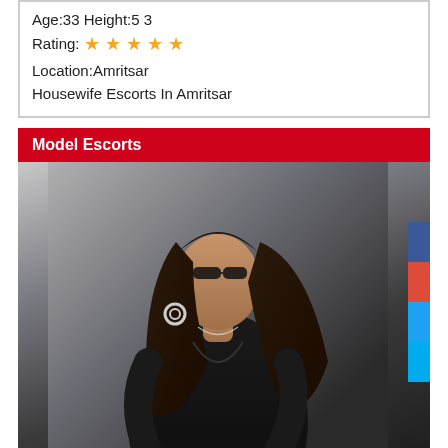Age:33 Height:5 3
Rating: ★★★★★
Location:Amritsar
Housewife Escorts In Amritsar
Model Escorts
[Figure (photo): Woman in black dress with long dark hair, posed leaning forward, wearing large circular earrings. Social media share buttons visible on right edge.]